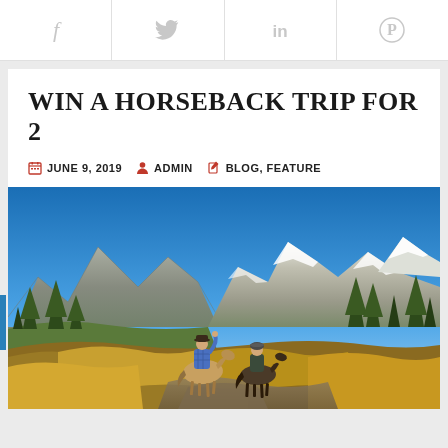Social share bar: Facebook, Twitter, LinkedIn, Pinterest
WIN A HORSEBACK TRIP FOR 2
JUNE 9, 2019  ADMIN  BLOG, FEATURE
[Figure (photo): Two people riding horses on a mountain trail surrounded by evergreen trees and autumn foliage, with dramatic snow-capped Rocky Mountain peaks and blue sky in the background.]